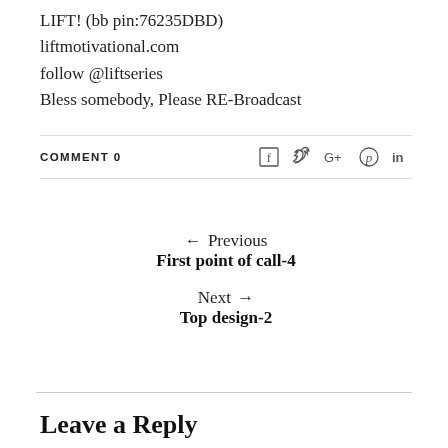LIFT! (bb pin:76235DBD)
liftmotivational.com
follow @liftseries
Bless somebody, Please RE-Broadcast
COMMENT 0
← Previous
First point of call-4
Next →
Top design-2
Leave a Reply